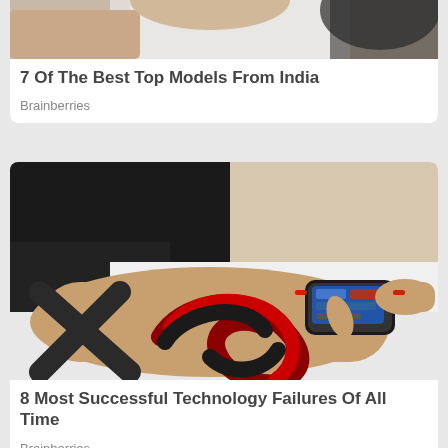[Figure (photo): Partial view of a woman with dark hair wearing a white top, cropped at the top of the page]
7 Of The Best Top Models From India
Brainberries
[Figure (photo): Close-up photo of a person's forearm with futuristic wearable technology device and black and red tattoo-like design, with a finger pointing at a small screen on the device]
8 Most Successful Technology Failures Of All Time
Brainberries